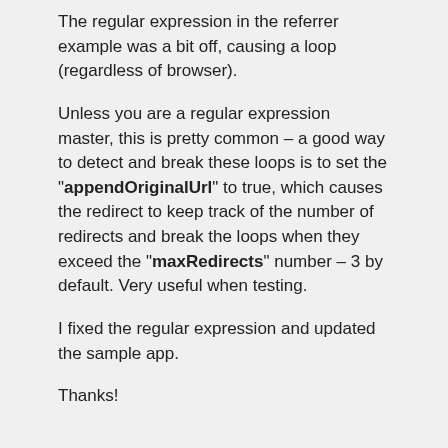The regular expression in the referrer example was a bit off, causing a loop (regardless of browser).
Unless you are a regular expression master, this is pretty common – a good way to detect and break these loops is to set the "appendOriginalUrl" to true, which causes the redirect to keep track of the number of redirects and break the loops when they exceed the "maxRedirects" number – 3 by default. Very useful when testing.
I fixed the regular expression and updated the sample app.
Thanks!